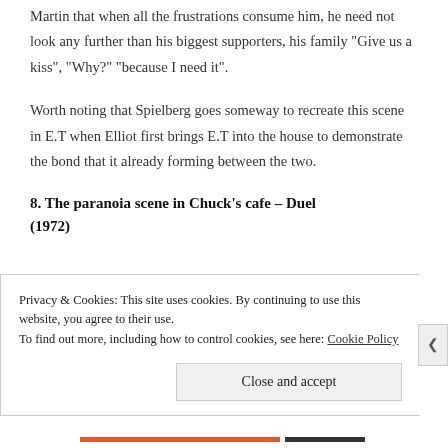Martin that when all the frustrations consume him, he need not look any further than his biggest supporters, his family “Give us a kiss”, “Why?” “because I need it”.
Worth noting that Spielberg goes someway to recreate this scene in E.T when Elliot first brings E.T into the house to demonstrate the bond that it already forming between the two.
8. The paranoia scene in Chuck’s cafe – Duel (1972)
Privacy & Cookies: This site uses cookies. By continuing to use this website, you agree to their use.
To find out more, including how to control cookies, see here: Cookie Policy
Close and accept